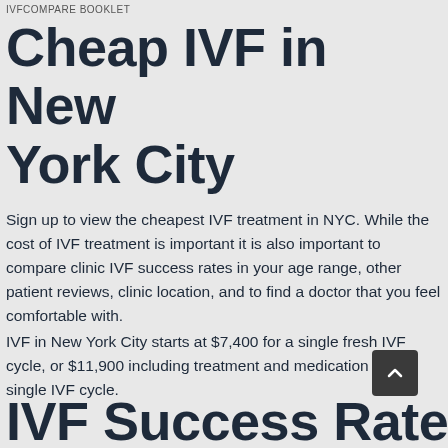IVFCOMPARE BOOKLET
Cheap IVF in New York City
Sign up to view the cheapest IVF treatment in NYC. While the cost of IVF treatment is important it is also important to compare clinic IVF success rates in your age range, other patient reviews, clinic location, and to find a doctor that you feel comfortable with.
IVF in New York City starts at $7,400 for a single fresh IVF cycle, or $11,900 including treatment and medication for a single IVF cycle.
IVF Success Rates in New York